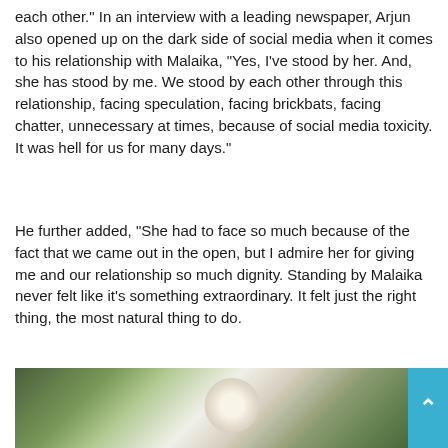each other.” In an interview with a leading newspaper, Arjun also opened up on the dark side of social media when it comes to his relationship with Malaika, “Yes, I’ve stood by her. And, she has stood by me. We stood by each other through this relationship, facing speculation, facing brickbats, facing chatter, unnecessary at times, because of social media toxicity. It was hell for us for many days.”
He further added, “She had to face so much because of the fact that we came out in the open, but I admire her for giving me and our relationship so much dignity. Standing by Malaika never felt like it’s something extraordinary. It felt just the right thing, the most natural thing to do.
[Figure (photo): A partial photo showing a person outdoors with trees in the background, with a blue scroll-to-top button overlaid in the bottom right corner.]